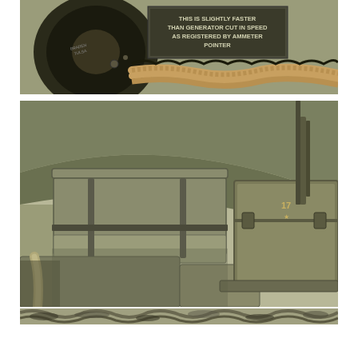[Figure (photo): Close-up photograph of military vehicle winch drum (Braden brand, Tulsa) with heavy braided steel cable and a warning placard reading 'THIS IS SLIGHTLY FASTER THAN GENERATOR CUT IN SPEED AS REGISTERED BY AMMETER POINTER']
[Figure (photo): Interior photograph of a military vehicle (likely WWII-era) showing canvas top, fold-down rear seat, military equipment case with unit markings, and various interior fittings in olive drab]
[Figure (photo): Narrow horizontal strip photograph showing a decorative or camouflage pattern border]